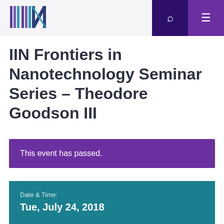IIN navigation header with logo, search, and menu icons
IIN Frontiers in Nanotechnology Seminar Series – Theodore Goodson III
This event has passed.
Date & Time:
Tue, July 24, 2018